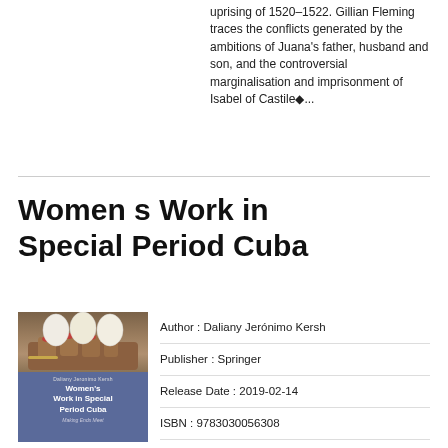uprising of 1520–1522. Gillian Fleming traces the conflicts generated by the ambitions of Juana's father, husband and son, and the controversial marginalisation and imprisonment of Isabel of Castile�...
Women s Work in Special Period Cuba
[Figure (illustration): Book cover of 'Women's Work in Special Period Cuba' by Daliany Jeronimo Kersh, showing hands holding eggs on top of the book, with a blue/purple lower section showing the book title.]
Author : Daliany Jerónimo Kersh
Publisher : Springer
Release Date : 2019-02-14
ISBN : 9783030056308
Detail : The abrupt loss of Soviet financial support in 1989 resulted in the collapse of the Cu...